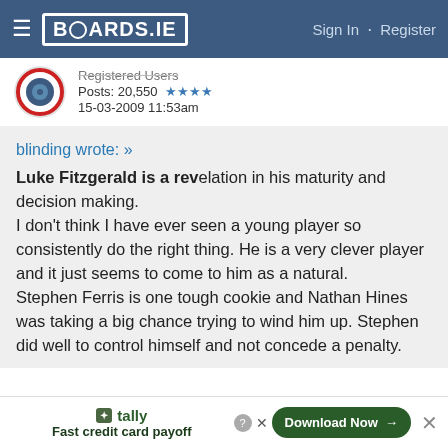BOARDS.IE | Sign In · Register
Registered Users
Posts: 20,550 ★★★★
15-03-2009 11:53am
blinding wrote: »
Luke Fitzgerald is a revelation in his maturity and decision making.
I don't think I have ever seen a young player so consistently do the right thing. He is a very clever player and it just seems to come to him as a natural.
Stephen Ferris is one tough cookie and Nathan Hines was taking a big chance trying to wind him up. Stephen did well to control himself and not concede a penalty.
tally Fast credit card payoff | Download Now →